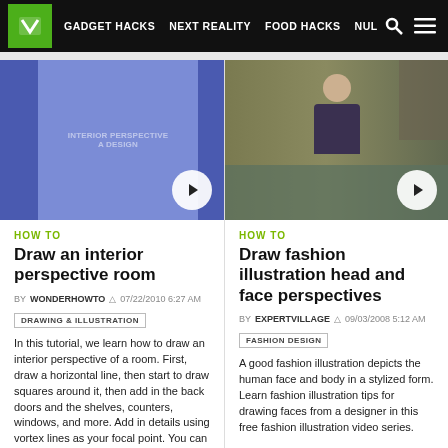GADGET HACKS  NEXT REALITY  FOOD HACKS  NUL
[Figure (screenshot): Video thumbnail for interior perspective room drawing tutorial — blue/purple panels with play button]
HOW TO
Draw an interior perspective room
BY WONDERHOWTO  07/22/2010 6:27 AM
DRAWING & ILLUSTRATION
In this tutorial, we learn how to draw an interior perspective of a room. First, draw a horizontal line, then start to draw squares around it, then add in the back doors and the shelves, counters, windows, and more. Add in details using vortex lines as your focal point. You can use this technique to draw several different perspectives of
[Figure (photo): Video thumbnail showing a woman sitting at a desk/table for fashion illustration tutorial, with play button]
HOW TO
Draw fashion illustration head and face perspectives
BY EXPERTVILLAGE  09/03/2008 5:12 AM
FASHION DESIGN
A good fashion illustration depicts the human face and body in a stylized form. Learn fashion illustration tips for drawing faces from a designer in this free fashion illustration video series.